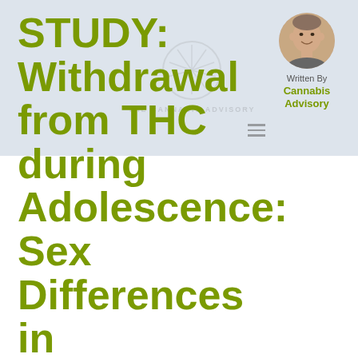STUDY: Withdrawal from THC during Adolescence: Sex Differences in Locomotor Activity and Anxiety
[Figure (photo): Circular headshot photo of a man, used as author avatar]
Written By Cannabis Advisory